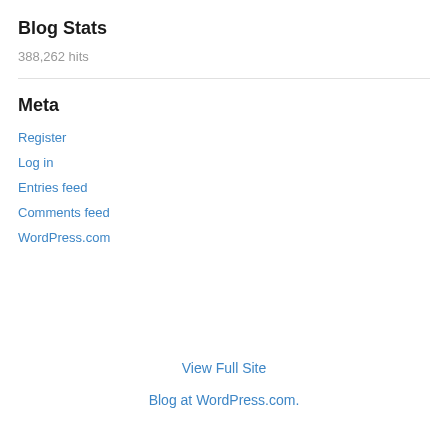Blog Stats
388,262 hits
Meta
Register
Log in
Entries feed
Comments feed
WordPress.com
View Full Site
Blog at WordPress.com.